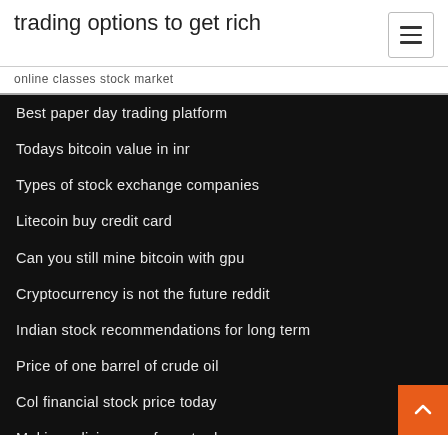trading options to get rich
online classes stock market
Best paper day trading platform
Todays bitcoin value in inr
Types of stock exchange companies
Litecoin buy credit card
Can you still mine bitcoin with gpu
Cryptocurrency is not the future reddit
Indian stock recommendations for long term
Price of one barrel of crude oil
Col financial stock price today
Making a living as a forex trader